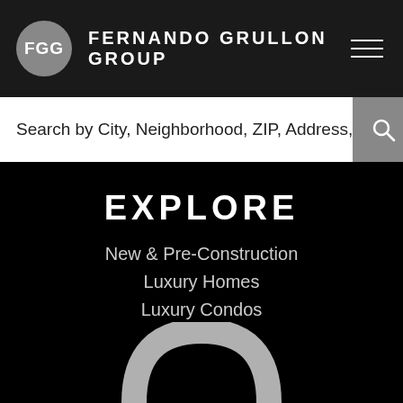[Figure (logo): Fernando Grullon Group logo with FGG in a grey circle and brand name in white text on dark header]
Search by City, Neighborhood, ZIP, Address,
EXPLORE
New & Pre-Construction
Luxury Homes
Luxury Condos
Advanced Search
[Figure (illustration): Partial view of a large location pin / map marker icon in grey/white at the bottom of the page]